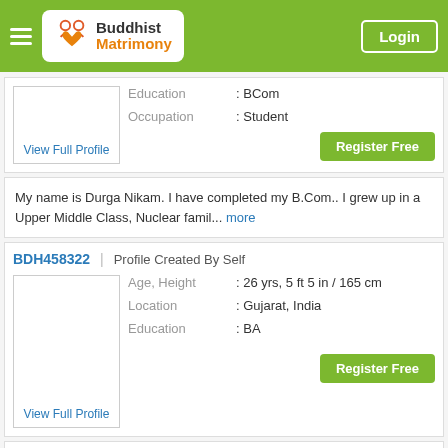Buddhist Matrimony | Login
Education : BCom
Occupation : Student
Register Free
My name is Durga Nikam. I have completed my B.Com.. I grew up in a Upper Middle Class, Nuclear famil... more
BDH458322 | Profile Created By Self
Age, Height : 26 yrs, 5 ft 5 in / 165 cm
Location : Gujarat, India
Education : BA
View Full Profile
Register Free
I belong to a middle class, nuclear family with moderate values.